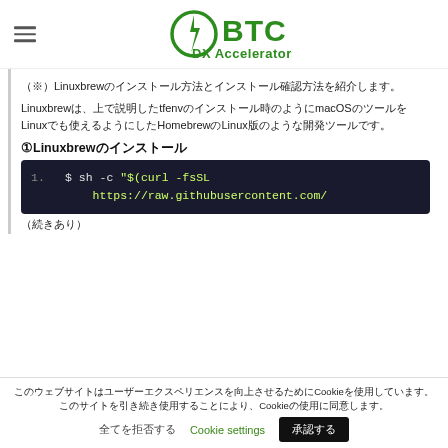[Figure (logo): BTC DX Accelerator logo with green stylized icon and text]
（※）Linuxbrewのインストール方法とインストール確認方法を紹介します。
Linuxbrewは、上で説明したtfenvのインストール時のようにmacOSのツールをLinuxでも使えるようにしたHomebrewのLinux版のような開発ツールです。
①Linuxbrewのインストール
[Figure (screenshot): Code block showing: 1.  $ sh -c "$(curl -fsSL https://raw.githubusercontent.com/...]
（続きあり）
このウェブサイトはCookieを使用して、ユーザーエクスペリエンスを向上させるためにCookieを使用しています。
全てを拒否する　Cookie settings　承認する